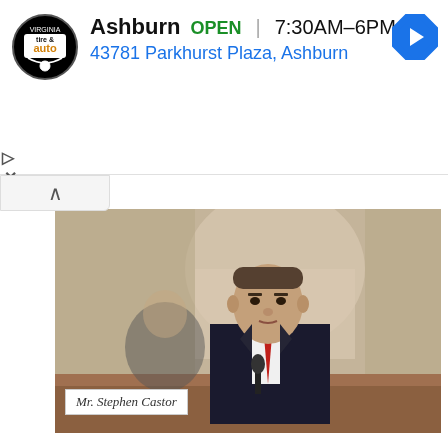[Figure (screenshot): Advertisement banner for Virginia Tire & Auto, Ashburn location. Shows logo, OPEN status, hours 7:30AM-6PM, address 43781 Parkhurst Plaza Ashburn, and navigation arrow icon.]
[Figure (photo): Man in dark suit with red tie sitting at a hearing table. Name placard reads 'Mr. Stephen Castor'. Congressional hearing room setting with arched background.]
History has repeatedly proven them wrong. Under Democratic presidents and Congresses, the United States still spends more on defense than the next ten countries